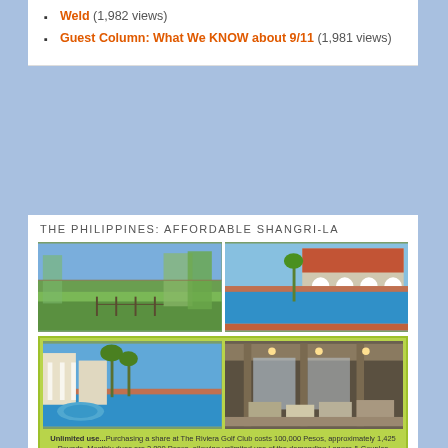Weld (1,982 views)
Guest Column: What We KNOW about 9/11 (1,981 views)
THE PHILIPPINES: AFFORDABLE SHANGRI-LA
[Figure (photo): Two side-by-side photos: left shows a golf course with green fairways, palm trees and blue sky; right shows a swimming pool with a Spanish colonial-style building with red tile roof and arched arcade in the background.]
[Figure (photo): Two side-by-side photos inside a green-bordered box: left shows a resort pool area with white columned buildings and palm trees; right shows the interior of a grand clubhouse with tall columns, high ceilings with skylights, and lounge furniture.]
Unlimited use...Purchasing a share at The Riviera Golf Club costs 100,000 Pesos, approximately 1,425 Pounds. Monthly dues are 3,800 Pesos, allowing unlimited use of the demanding Langer & Couples Championship courses, which really are championship layouts, although thankfully made easier for Seniors by playing from forward tees.